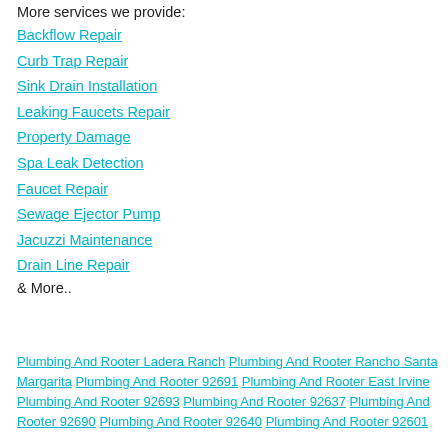More services we provide:
Backflow Repair
Curb Trap Repair
Sink Drain Installation
Leaking Faucets Repair
Property Damage
Spa Leak Detection
Faucet Repair
Sewage Ejector Pump
Jacuzzi Maintenance
Drain Line Repair
& More..
Plumbing And Rooter Ladera Ranch Plumbing And Rooter Rancho Santa Margarita Plumbing And Rooter 92691 Plumbing And Rooter East Irvine Plumbing And Rooter 92693 Plumbing And Rooter 92637 Plumbing And Rooter 92690 Plumbing And Rooter 92640 Plumbing And Rooter 92601